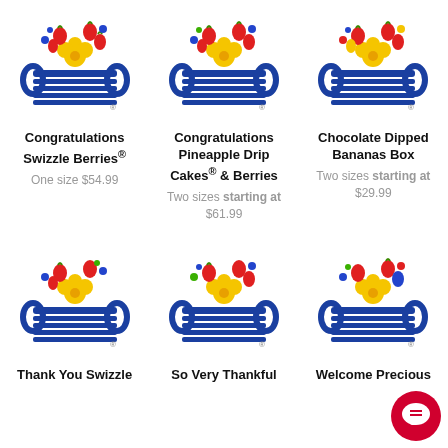[Figure (logo): Edible Arrangements basket logo with flowers and berries - product 1]
Congratulations Swizzle Berries®
One size $54.99
[Figure (logo): Edible Arrangements basket logo with flowers and berries - product 2]
Congratulations Pineapple Drip Cakes® & Berries
Two sizes starting at $61.99
[Figure (logo): Edible Arrangements basket logo with flowers and berries - product 3]
Chocolate Dipped Bananas Box
Two sizes starting at $29.99
[Figure (logo): Edible Arrangements basket logo with flowers and berries - product 4]
Thank You Swizzle
[Figure (logo): Edible Arrangements basket logo with flowers and berries - product 5]
So Very Thankful
[Figure (logo): Edible Arrangements basket logo with flowers and berries - product 6]
Welcome Precious